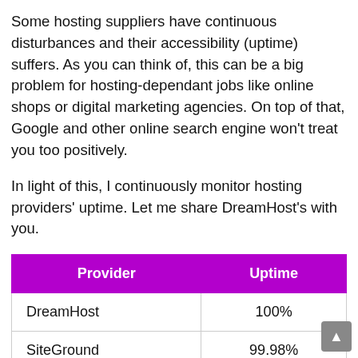Some hosting suppliers have continuous disturbances and their accessibility (uptime) suffers. As you can think of, this can be a big problem for hosting-dependant jobs like online shops or digital marketing agencies. On top of that, Google and other online search engine won't treat you too positively.
In light of this, I continuously monitor hosting providers' uptime. Let me share DreamHost's with you.
| Provider | Uptime |
| --- | --- |
| DreamHost | 100% |
| SiteGround | 99.98% |
| Bluehost | 99.98% |
| GoDaddy | 99.97% |